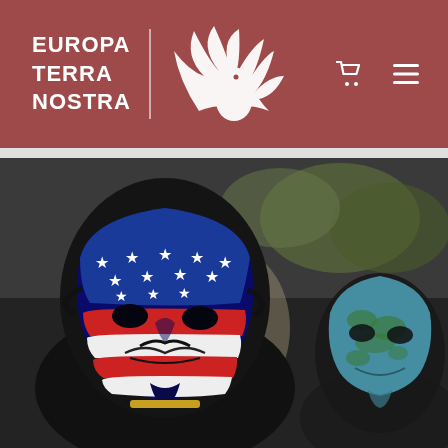EUROPA TERRA NOSTRA
[Figure (photo): Two people wearing Guy Fawkes masks decorated with flag patterns — one with an American flag design (blue with white stars and red/white stripes), and one with a light blue world map design — at what appears to be an outdoor protest or demonstration.]